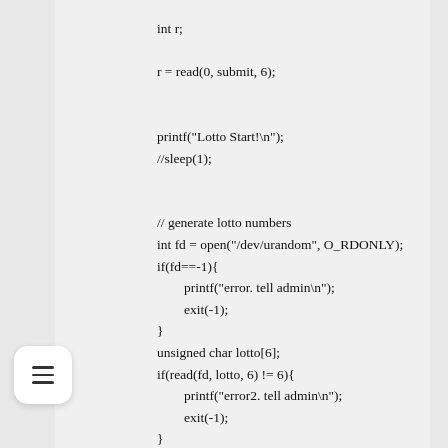int r;

r = read(0, submit, 6);


printf("Lotto Start!\n");
//sleep(1);


// generate lotto numbers
int fd = open("/dev/urandom", O_RDONLY);
if(fd==-1){
    printf("error. tell admin\n");
    exit(-1);
}
unsigned char lotto[6];
if(read(fd, lotto, 6) != 6){
    printf("error2. tell admin\n");
    exit(-1);
}